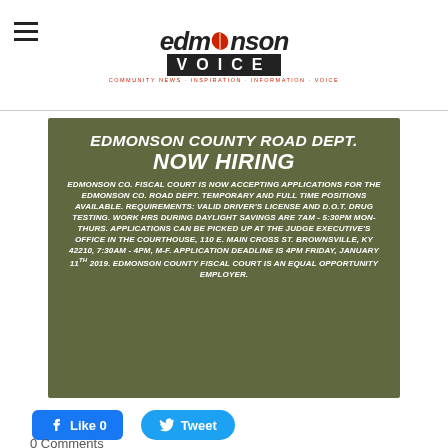the edmonson VOICE - community news · inspiration · information · voice
[Figure (infographic): Edmonson County Road Dept. Now Hiring announcement on olive/dark green background with white italic bold text. Text reads: EDMONSON COUNTY ROAD DEPT. NOW HIRING. EDMONSON CO. FISCAL COURT IS NOW ACCEPTING APPLICATIONS FOR THE EDMONSON CO. ROAD DEPT. TEMPORARY AND FULL TIME POSITIONS AVAILABLE. REQUIREMENTS: VALID DRIVER'S LICENSE AND D.O.T. DRUG TESTING. WORK HRS DURING DAYLIGHT SAVINGS ARE 7AM - 5:30PM MON-THURS. APPLICATIONS CAN BE PICKED UP AT THE JUDGE EXECUTIVE'S OFFICE IN THE COURTHOUSE, 110 E. MAIN CROSS ST. BROWNSVILLE, KY 42210, 7:30AM - 4PM, M-F. APPLICATION DEADLINE IS 4PM FRIDAY, JANUARY 11TH 2019. EDMONSON COUNTY FISCAL COURT IS AN EQUAL OPPORTUNITY EMPLOYER.]
Like 0   Tweet
0 Comments